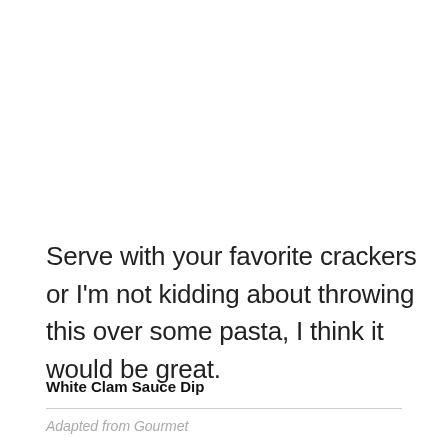Serve with your favorite crackers or I'm not kidding about throwing this over some pasta, I think it would be great.
White Clam Sauce Dip
Adapted from Gourmet